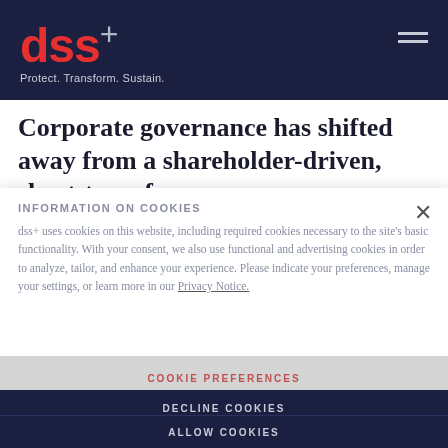dss+ Protect. Transform. Sustain.
Corporate governance has shifted away from a shareholder-driven, short-term focus on
INFORMATION ON COOKIES
dss+ uses cookies on this website, including required cookies necessary to the site's basic functionality. With your consent, we also use functional and advertising cookies in order to analyze, tailor, and enhance your experience. Please indicate your preferences, manage your settings, or learn more in our Privacy Notice.
COOKIE PREFERENCES
DECLINE COOKIES
ALLOW COOKIES